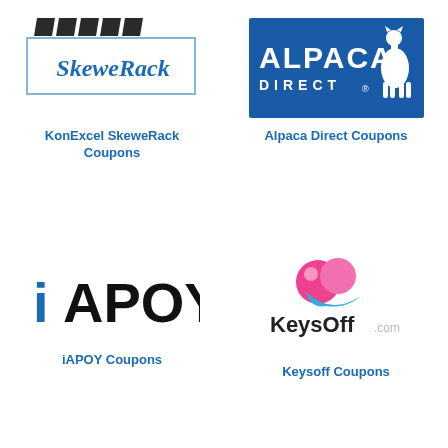[Figure (logo): KonExcel SkeweRack logo with diagonal slats above a bordered box containing italic text SkeweRack]
KonExcel SkeweRack Coupons
[Figure (logo): Alpaca Direct logo: blue rectangle with white text ALPACA DIRECT and white alpaca silhouette]
Alpaca Direct Coupons
[Figure (logo): iAPOY logo in large bold black sans-serif text with blue i]
iAPOY Coupons
[Figure (logo): KeysOff.com logo with colorful icon of pink and blue shapes above the text KeysOff.com]
Keysoff Coupons